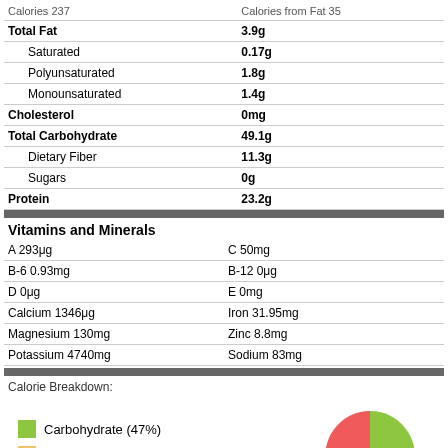| Nutrient | Amount |
| --- | --- |
| Calories 237 | Calories from Fat 35 |
| Total Fat | 3.9g |
| Saturated | 0.17g |
| Polyunsaturated | 1.8g |
| Monounsaturated | 1.4g |
| Cholesterol | 0mg |
| Total Carbohydrate | 49.1g |
| Dietary Fiber | 11.3g |
| Sugars | 0g |
| Protein | 23.2g |
Vitamins and Minerals
| Vitamin/Mineral | Amount |
| --- | --- |
| A 293μg | C 50mg |
| B-6 0.93mg | B-12 0μg |
| D 0μg | E 0mg |
| Calcium 1346μg | Iron 31.95mg |
| Magnesium 130mg | Zinc 8.8mg |
| Potassium 4740mg | Sodium 83mg |
Calorie Breakdown:
[Figure (pie-chart): Calorie Breakdown]